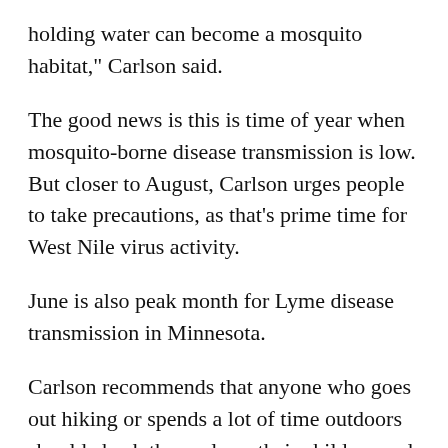holding water can become a mosquito habitat," Carlson said.
The good news is this is time of year when mosquito-borne disease transmission is low. But closer to August, Carlson urges people to take precautions, as that's prime time for West Nile virus activity.
June is also peak month for Lyme disease transmission in Minnesota.
Carlson recommends that anyone who goes out hiking or spends a lot of time outdoors should check themselves, their children and their pets for ticks.
"If you find a tick and remove it, the chances of Lyme disease are significantly lower," he explained. "The tick has to be attached for at least 24 hours in order to